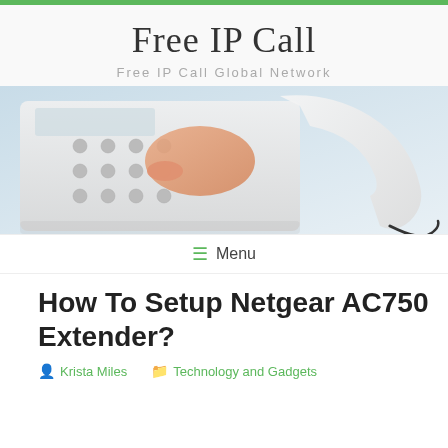Free IP Call
Free IP Call Global Network
[Figure (photo): Close-up photo of a hand pressing buttons on a white office desk phone while holding the handset]
≡ Menu
How To Setup Netgear AC750 Extender?
Krista Miles   Technology and Gadgets